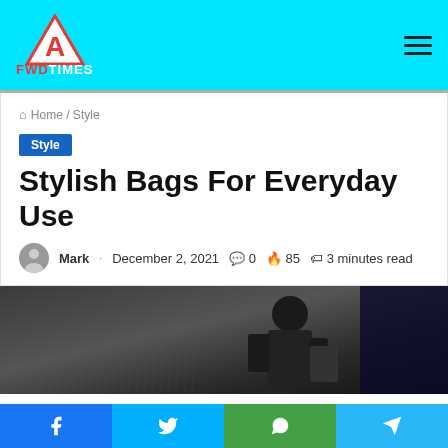FWD TIMES
Home / Style
Style
Stylish Bags For Everyday Use
Mark · December 2, 2021 · 0 · 85 · 3 minutes read
[Figure (photo): Dark moody photo of a person in a suit seen from behind near a wire fence, carrying a bag]
Facebook · Twitter · WhatsApp · Telegram